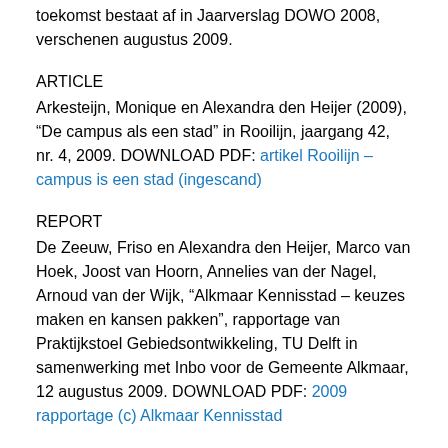toekomst bestaat af in Jaarverslag DOWO 2008, verschenen augustus 2009.
ARTICLE
Arkesteijn, Monique en Alexandra den Heijer (2009), “De campus als een stad” in Rooilijn, jaargang 42, nr. 4, 2009. DOWNLOAD PDF: artikel Rooilijn – campus is een stad (ingescand)
REPORT
De Zeeuw, Friso en Alexandra den Heijer, Marco van Hoek, Joost van Hoorn, Annelies van der Nagel, Arnoud van der Wijk, “Alkmaar Kennisstad – keuzes maken en kansen pakken”, rapportage van Praktijkstoel Gebiedsontwikkeling, TU Delft in samenwerking met Inbo voor de Gemeente Alkmaar, 12 augustus 2009. DOWNLOAD PDF: 2009 rapportage (c) Alkmaar Kennisstad